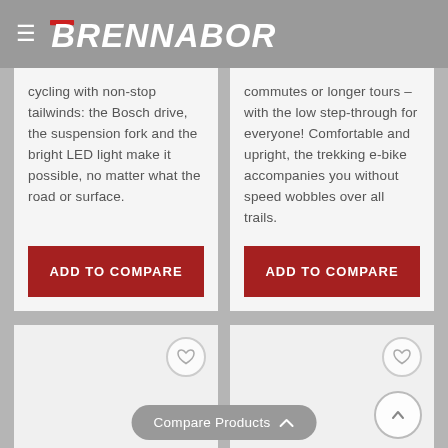BRENNABOR
cycling with non-stop tailwinds: the Bosch drive, the suspension fork and the bright LED light make it possible, no matter what the road or surface.
commutes or longer tours – with the low step-through for everyone! Comfortable and upright, the trekking e-bike accompanies you without speed wobbles over all trails.
ADD TO COMPARE
ADD TO COMPARE
Compare Products